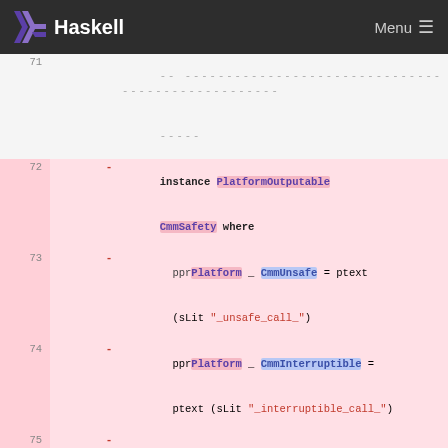Haskell  Menu
Diff view of Haskell source code showing removal of PlatformOutputable CmmSafety instance and addition of Outputable CmmSafety instance. Lines 72-77 shown.